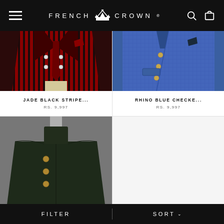FRENCH CROWN
[Figure (photo): Red and black striped double-breasted suit jacket on mannequin with dark red/burgundy tie and pocket square, cream trousers visible]
JADE BLACK STRIPE...
RS. 9,997
[Figure (photo): Royal blue checked/textured Jodhpuri/Bandhgala suit jacket on mannequin with gold buttons and dark pocket square]
RHINO BLUE CHECKE...
RS. 9,997
[Figure (photo): Dark olive/black nehru collar suit jacket with gold buttons on mannequin, grey background]
FILTER   SORT
↓